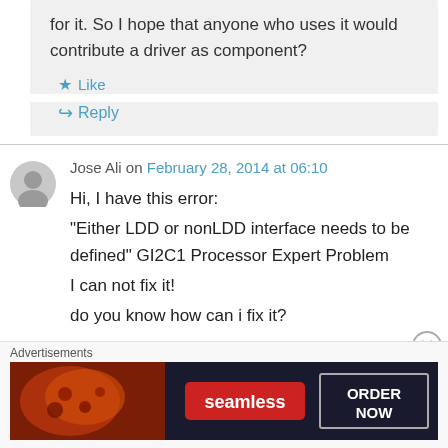for it. So I hope that anyone who uses it would contribute a driver as component?
Like
Reply
Jose Ali on February 28, 2014 at 06:10
Hi, I have this error:
"Either LDD or nonLDD interface needs to be defined" GI2C1 Processor Expert Problem
I can not fix it!
do you know how can i fix it?
Advertisements
[Figure (screenshot): Seamless food delivery advertisement banner with pizza image on left, red Seamless logo in center, and ORDER NOW button on right against dark background]